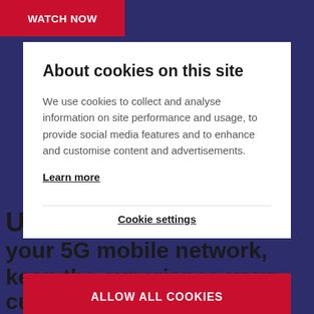[Figure (screenshot): Red 'WATCH NOW' button bar at top left of page background]
About cookies on this site
We use cookies to collect and analyse information on site performance and usage, to provide social media features and to enhance and customise content and advertisements.
Learn more
Cookie settings
ALLOW ALL COOKIES
your 5G mobile network, keep the experience your customers